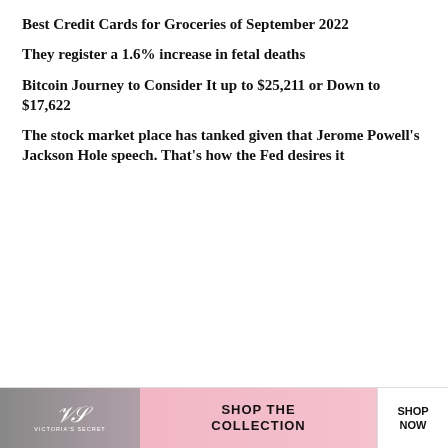Best Credit Cards for Groceries of September 2022
They register a 1.6% increase in fetal deaths
Bitcoin Journey to Consider It up to $25,211 or Down to $17,622
The stock market place has tanked given that Jerome Powell's Jackson Hole speech. That's how the Fed desires it
[Figure (screenshot): Advertisement for TABC Classroom Edition: 'Where Best-selling Authors Teach Writing. Over 60 writing courses taught by professional authors! Get Started!' with a photo of students writing, and a CLOSE button.]
[Figure (screenshot): Victoria's Secret advertisement with pink background: 'SHOP THE COLLECTION' and 'SHOP NOW' button, with Victoria's Secret logo and model photo.]